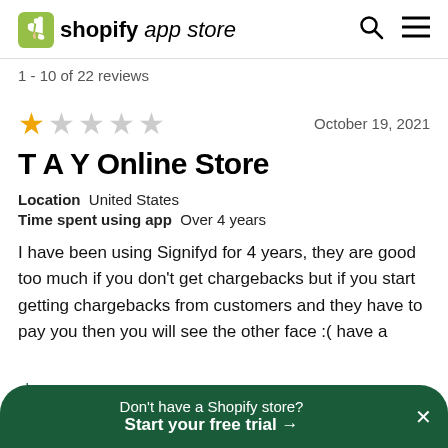shopify app store
1 - 10 of 22 reviews
★☆☆☆☆ October 19, 2021
T A Y Online Store
Location  United States
Time spent using app  Over 4 years
I have been using Signifyd for 4 years, they are good too much if you don't get chargebacks but if you start getting chargebacks from customers and they have to pay you then you will see the other face :( have a
Don't have a Shopify store?
Start your free trial →